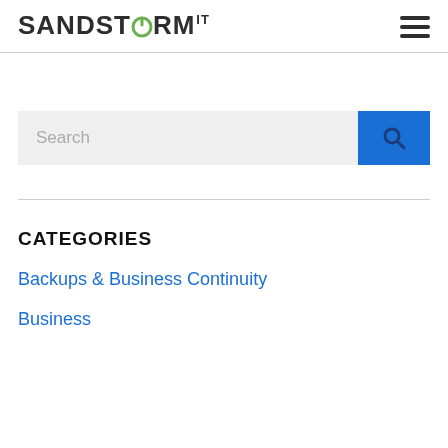[Figure (logo): SandStorm IT logo with power button icon replacing the letter O in Storm, with superscript IT]
[Figure (other): Hamburger menu icon with three horizontal lines]
[Figure (other): Search bar with light gray input field and blue search button with magnifying glass icon]
CATEGORIES
Backups & Business Continuity
Business